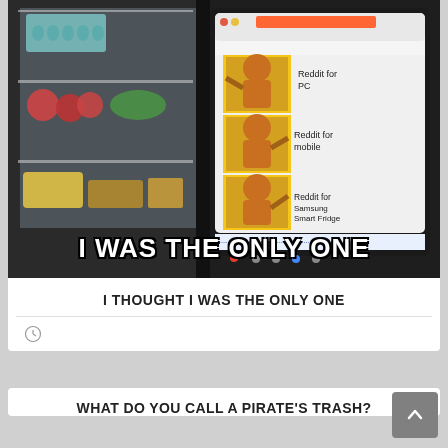[Figure (photo): Meme image: Samsung Smart Fridge displaying Reddit in a browser, showing the Drake Hotline Bling meme with labels: Reddit for PC, Reddit for mobile, Reddit for Samsung Smart Fridge. Meme text at bottom reads: I WAS THE ONLY ONE]
I THOUGHT I WAS THE ONLY ONE
[Figure (other): Clock/time icon]
WHAT DO YOU CALL A PIRATE'S TRASH?